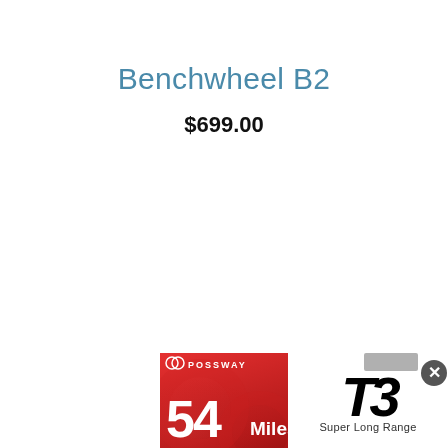Benchwheel B2
$699.00
[Figure (photo): Possway T3 electric skateboard advertisement banner. Red gradient background with 'POSSWAY' logo, '54 Miles Range' text in white, an image of a black electric skateboard, and 'T3 Super Long Range' text on white section. A gray dismiss bar and close button (X) are visible at top-right.]